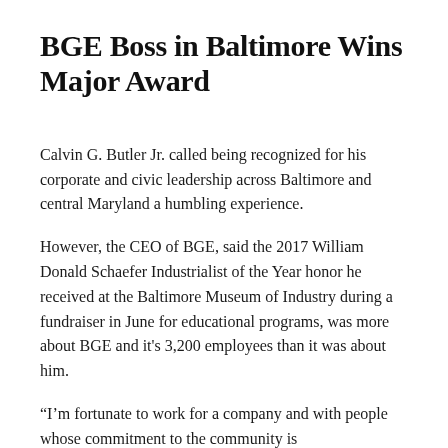BGE Boss in Baltimore Wins Major Award
Calvin G. Butler Jr. called being recognized for his corporate and civic leadership across Baltimore and central Maryland a humbling experience.
However, the CEO of BGE, said the 2017 William Donald Schaefer Industrialist of the Year honor he received at the Baltimore Museum of Industry during a fundraiser in June for educational programs, was more about BGE and it's 3,200 employees than it was about him.
“I’m fortunate to work for a company and with people whose commitment to the community is